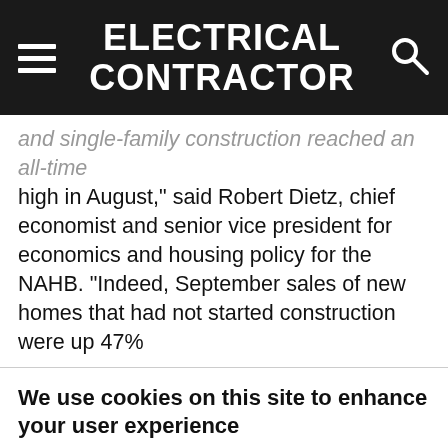ELECTRICAL CONTRACTOR
and single-family construction reached an all-time high in August," said Robert Dietz, chief economist and senior vice president for economics and housing policy for the NAHB. “Indeed, September sales of new homes that had not started construction were up 47%
We use cookies on this site to enhance your user experience
By clicking the Accept button, you agree to us doing so.
Accept   No, thanks